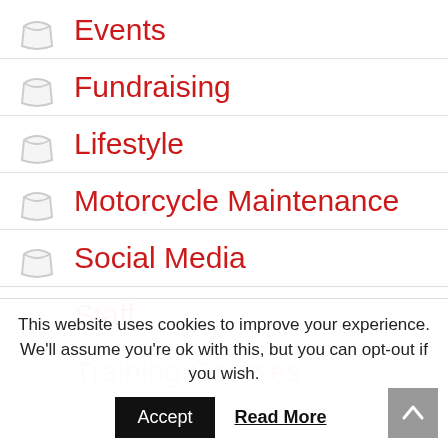Events
Fundraising
Lifestyle
Motorcycle Maintenance
Social Media
Staff
Training Courses
This website uses cookies to improve your experience. We'll assume you're ok with this, but you can opt-out if you wish.
Accept  Read More